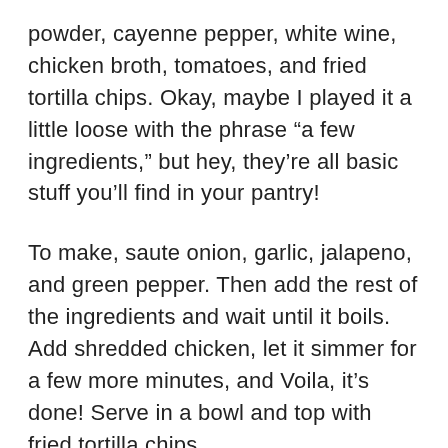powder, cayenne pepper, white wine, chicken broth, tomatoes, and fried tortilla chips. Okay, maybe I played it a little loose with the phrase “a few ingredients,” but hey, they’re all basic stuff you’ll find in your pantry!
To make, saute onion, garlic, jalapeno, and green pepper. Then add the rest of the ingredients and wait until it boils. Add shredded chicken, let it simmer for a few more minutes, and Voila, it’s done! Serve in a bowl and top with fried tortilla chips.